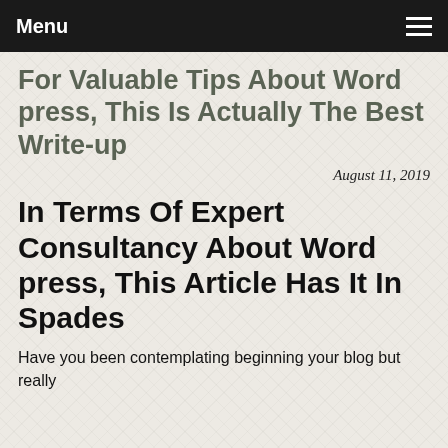Menu
For Valuable Tips About Word press, This Is Actually The Best Write-up
August 11, 2019
In Terms Of Expert Consultancy About Word press, This Article Has It In Spades
Have you been contemplating beginning your blog but really